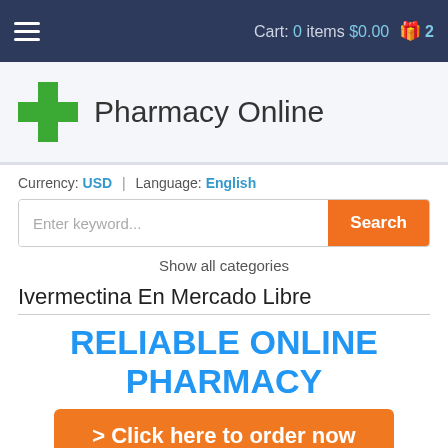Cart: 0 items $0.00 2
[Figure (logo): Green cross logo with text Pharmacy Online]
Currency: USD | Language: English
Enter keyword... Search
Show all categories
Ivermectina En Mercado Libre
RELIABLE ONLINE PHARMACY
> Click here to order now